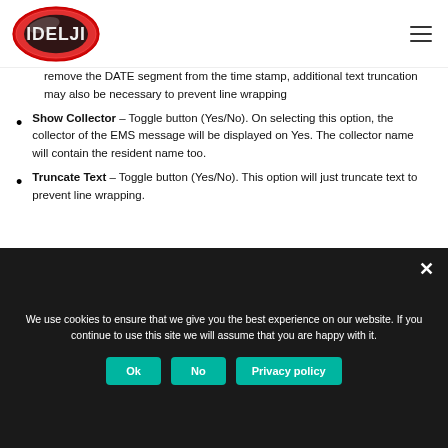Idelji logo and navigation
remove the DATE segment from the time stamp, additional text truncation may also be necessary to prevent line wrapping
Show Collector – Toggle button (Yes/No). On selecting this option, the collector of the EMS message will be displayed on Yes. The collector name will contain the resident name too.
Truncate Text – Toggle button (Yes/No). This option will just truncate text to prevent line wrapping.
We use cookies to ensure that we give you the best experience on our website. If you continue to use this site we will assume that you are happy with it.